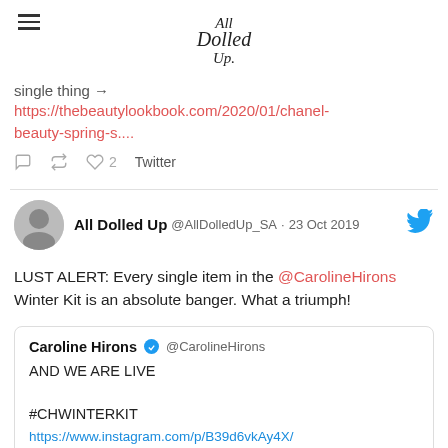All Dolled Up
single thing → https://thebeautylookbook.com/2020/01/chanel-beauty-spring-s....
♡ 2   Twitter
All Dolled Up @AllDolledUp_SA · 23 Oct 2019
LUST ALERT: Every single item in the @CarolineHirons Winter Kit is an absolute banger. What a triumph!
Caroline Hirons ✓ @CarolineHirons
AND WE ARE LIVE

#CHWINTERKIT
https://www.instagram.com/p/B39d6vkAy4X/
igshid=1rmczovy2ytlt